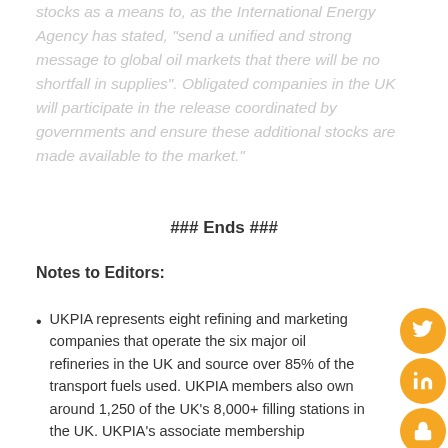stocks as a means to, as the International Energy Agency has stated, "send a unified and strong message to global oil markets that there will be no shortfall in supplies". Obligated companies in the UK will participate in the release coordinated by governments and ensure these additional stocks are made available to the market."
### Ends ###
Notes to Editors:
UKPIA represents eight refining and marketing companies that operate the six major oil refineries in the UK and source over 85% of the transport fuels used. UKPIA members also own around 1,250 of the UK's 8,000+ filling stations in the UK. UKPIA's associate membership comprises a wide range of companies - from heating fuel supply and LNG imports, renewable and sustainable fuel producers to termi...